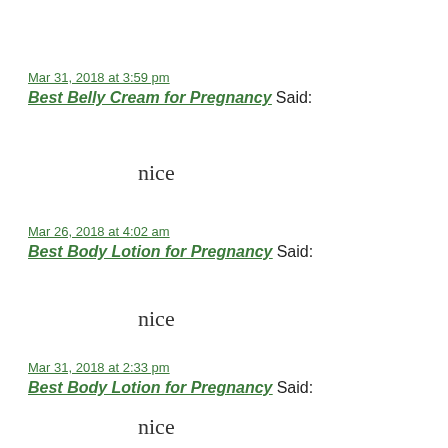Mar 31, 2018 at 3:59 pm
Best Belly Cream for Pregnancy Said:
nice
Mar 26, 2018 at 4:02 am
Best Body Lotion for Pregnancy Said:
nice
Mar 31, 2018 at 2:33 pm
Best Body Lotion for Pregnancy Said:
nice